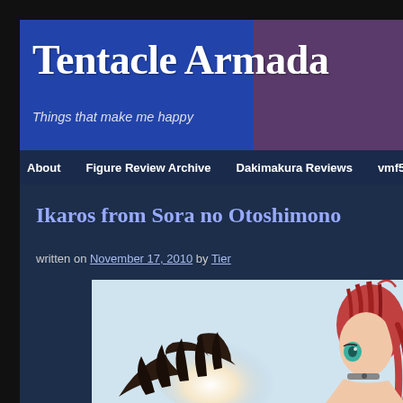Tentacle Armada
Things that make me happy
About | Figure Review Archive | Dakimakura Reviews | vmf50 Doll
Ikaros from Sora no Otoshimono
written on November 17, 2010 by Tier
[Figure (illustration): Anime figure photo of Ikaros from Sora no Otoshimono — a girl with red hair, teal eyes, dark wings, and a choker, lit with a bright backlight]